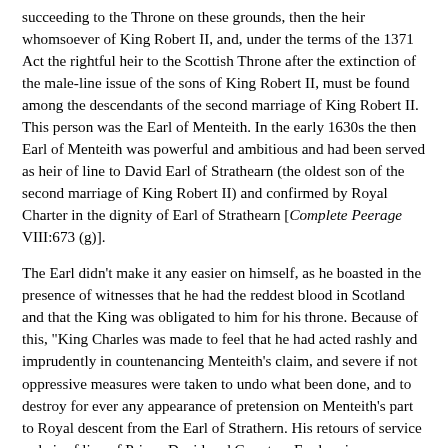succeeding to the Throne on these grounds, then the heir whomsoever of King Robert II, and, under the terms of the 1371 Act the rightful heir to the Scottish Throne after the extinction of the male-line issue of the sons of King Robert II, must be found among the descendants of the second marriage of King Robert II. This person was the Earl of Menteith. In the early 1630s the then Earl of Menteith was powerful and ambitious and had been served as heir of line to David Earl of Strathearn (the oldest son of the second marriage of King Robert II) and confirmed by Royal Charter in the dignity of Earl of Strathearn [Complete Peerage VIII:673 (g)].
The Earl didn't make it any easier on himself, as he boasted in the presence of witnesses that he had the reddest blood in Scotland and that the King was obligated to him for his throne. Because of this, "King Charles was made to feel that he had acted rashly and imprudently in countenancing Menteith's claim, and severe if not oppressive measures were taken to undo what been done, and to destroy for ever any appearance of pretension on Menteith's part to Royal descent from the Earl of Strathern. His retours of service as heir of line of Prince David and Countess Euphemia were illegally annulled, his patent was cancelled, and he was compelled to accept a new title which should extinguish that of Strathern and make even Menteith a secondary dignity. This was the origin of the Earldom of Airth, the creation of which marked the fall of the former, and for ever." [Scots Peerage I:135]